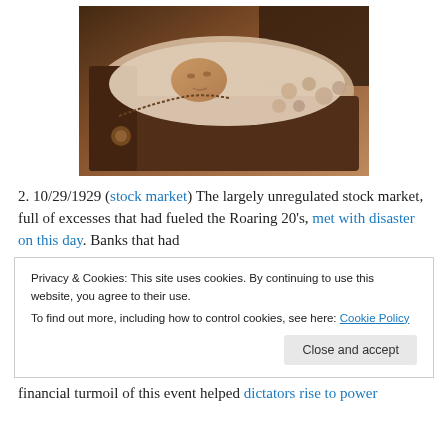[Figure (photo): Sepia-toned photograph of a person lying in an open casket with decorative details and flowers]
2. 10/29/1929 (stock market) The largely unregulated stock market, full of excesses that had fueled the Roaring 20's, met with disaster on this day. Banks that had
Privacy & Cookies: This site uses cookies. By continuing to use this website, you agree to their use.
To find out more, including how to control cookies, see here: Cookie Policy
Close and accept
financial turmoil of this event helped dictators rise to power